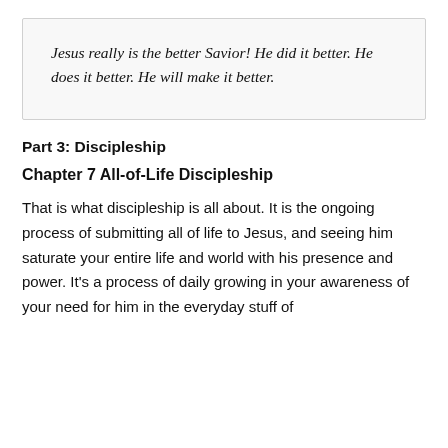Jesus really is the better Savior! He did it better. He does it better. He will make it better.
Part 3: Discipleship
Chapter 7 All-of-Life Discipleship
That is what discipleship is all about. It is the ongoing process of submitting all of life to Jesus, and seeing him saturate your entire life and world with his presence and power. It’s a process of daily growing in your awareness of your need for him in the everyday stuff of